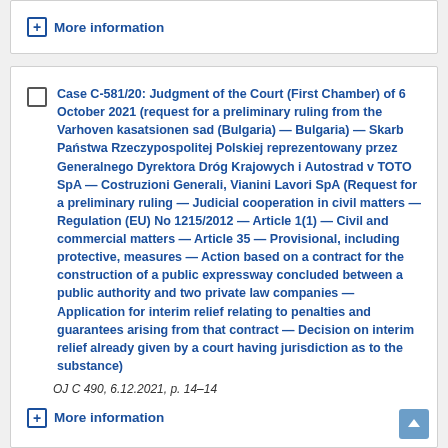+ More information
Case C-581/20: Judgment of the Court (First Chamber) of 6 October 2021 (request for a preliminary ruling from the Varhoven kasatsionen sad (Bulgaria) — Bulgaria) — Skarb Państwa Rzeczypospolitej Polskiej reprezentowany przez Generalnego Dyrektora Dróg Krajowych i Autostrad v TOTO SpA — Costruzioni Generali, Vianini Lavori SpA (Request for a preliminary ruling — Judicial cooperation in civil matters — Regulation (EU) No 1215/2012 — Article 1(1) — Civil and commercial matters — Article 35 — Provisional, including protective, measures — Action based on a contract for the construction of a public expressway concluded between a public authority and two private law companies — Application for interim relief relating to penalties and guarantees arising from that contract — Decision on interim relief already given by a court having jurisdiction as to the substance)
OJ C 490, 6.12.2021, p. 14–14
+ More information